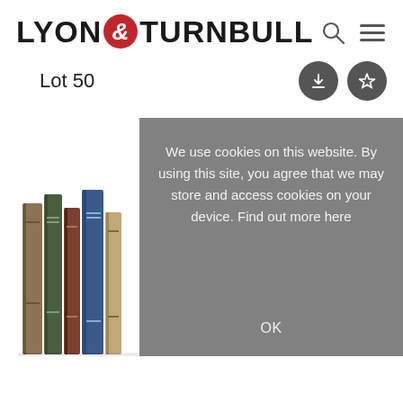LYON & TURNBULL
Lot 50
[Figure (photo): A row of antique hardcover books with decorative spines standing upright]
We use cookies on this website. By using this site, you agree that we may store and access cookies on your device. Find out more here
OK